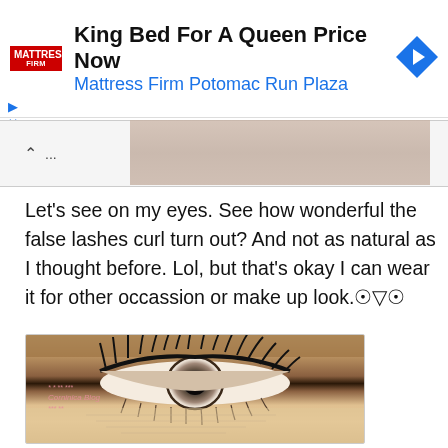[Figure (screenshot): Advertisement banner for Mattress Firm Potomac Run Plaza with text 'King Bed For A Queen Price Now' and a blue navigation arrow icon]
[Figure (photo): Close-up photograph of a human eye with dramatic false eyelashes, dark eyeliner, and a colored contact lens. Watermark reads 'Corninica Blog']
Let's see on my eyes. See how wonderful the false lashes curl turn out? And not as natural as I thought before. Lol, but that's okay I can wear it for other occassion or make up look.⊙▽⊙